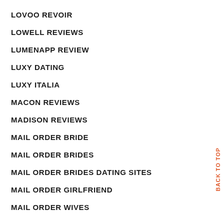LOVOO REVOIR
LOWELL REVIEWS
LUMENAPP REVIEW
LUXY DATING
LUXY ITALIA
MACON REVIEWS
MADISON REVIEWS
MAIL ORDER BRIDE
MAIL ORDER BRIDES
MAIL ORDER BRIDES DATING SITES
MAIL ORDER GIRLFRIEND
MAIL ORDER WIVES